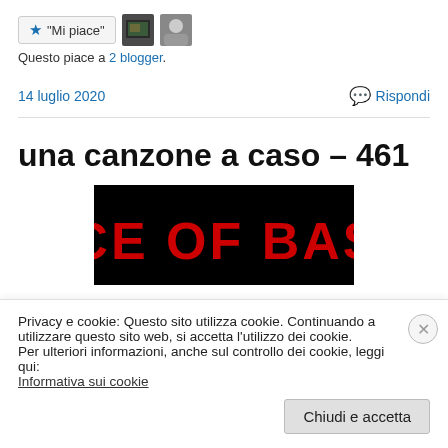[Figure (other): Like/Mi piace button with star icon, and two thumbnail avatar images]
Questo piace a 2 blogger.
14 luglio 2020   💬 Rispondi
una canzone a caso – 461
[Figure (logo): ACE OF BASE logo in red bold text on black background]
Privacy e cookie: Questo sito utilizza cookie. Continuando a utilizzare questo sito web, si accetta l'utilizzo dei cookie.
Per ulteriori informazioni, anche sul controllo dei cookie, leggi qui:
Informativa sui cookie
Chiudi e accetta